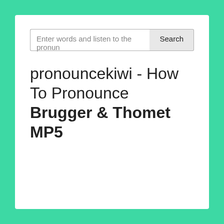[Figure (screenshot): Search input field with placeholder text 'Enter words and listen to the pronun' and a Search button]
pronouncekiwi - How To Pronounce Brugger & Thomet MP5